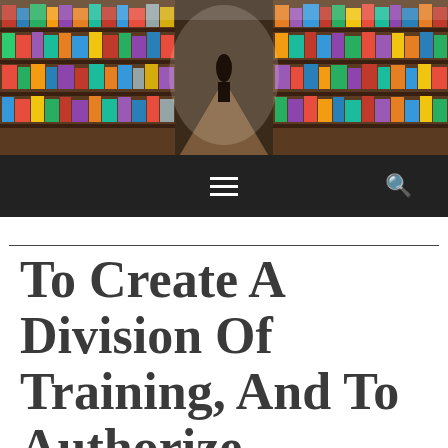[Figure (photo): Interior of a bookstore with long aisles of books stacked on shelves on both sides, perspective view down the aisle]
Navigation bar with hamburger menu icon and search icon
To Create A Division Of Training, And To Authorize